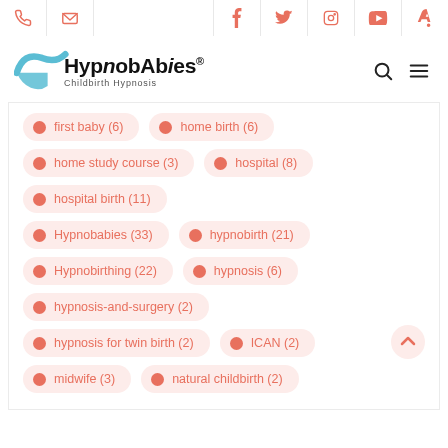Hypnobabies website navigation bar with phone, email, Facebook, Twitter, Instagram, YouTube, TikTok icons
[Figure (logo): Hypnobabies Childbirth Hypnosis logo with teal wave swoosh and search/menu icons]
first baby (6)
home birth (6)
home study course (3)
hospital (8)
hospital birth (11)
Hypnobabies (33)
hypnobirth (21)
Hypnobirthing (22)
hypnosis (6)
hypnosis-and-surgery (2)
hypnosis for twin birth (2)
ICAN (2)
midwife (3)
natural childbirth (2)